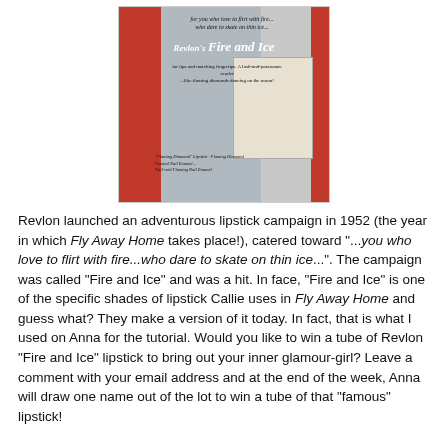[Figure (photo): Vintage 1952 Revlon 'Fire and Ice' lipstick advertisement showing a woman in red dress and silver outfit, with product shots and text: 'for you who love to flirt with fire... who dare to skate on thin ice...' and 'Revlon's Fire and Ice for lips and matching fingertips. A lush-and-passionate scarlet ...like flaming diamonds dancing on the moon!']
Revlon launched an adventurous lipstick campaign in 1952 (the year in which Fly Away Home takes place!), catered toward "...you who love to flirt with fire...who dare to skate on thin ice...". The campaign was called "Fire and Ice" and was a hit. In face, "Fire and Ice" is one of the specific shades of lipstick Callie uses in Fly Away Home and guess what? They make a version of it today. In fact, that is what I used on Anna for the tutorial. Would you like to win a tube of Revlon "Fire and Ice" lipstick to bring out your inner glamour-girl? Leave a comment with your email address and at the end of the week, Anna will draw one name out of the lot to win a tube of that "famous" lipstick!